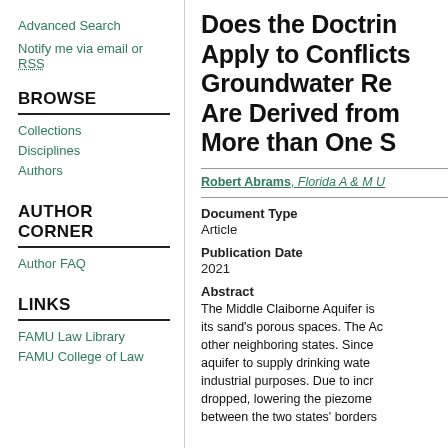Advanced Search
Notify me via email or RSS
BROWSE
Collections
Disciplines
Authors
AUTHOR CORNER
Author FAQ
LINKS
FAMU Law Library
FAMU College of Law
Does the Doctrine Apply to Conflicts Groundwater Re Are Derived from More than One S
Robert Abrams, Florida A & M U
Document Type
Article
Publication Date
2021
Abstract
The Middle Claiborne Aquifer is its sand's porous spaces. The Ac other neighboring states. Since aquifer to supply drinking wate industrial purposes. Due to incr dropped, lowering the piezome between the two states' borders